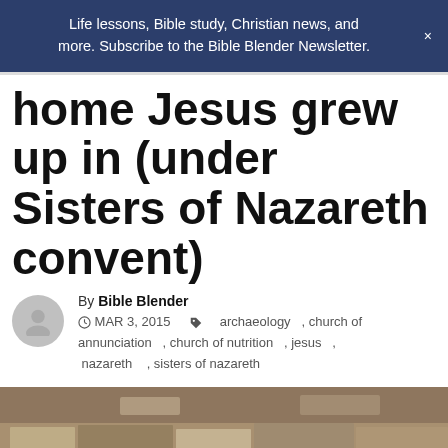Life lessons, Bible study, Christian news, and more. Subscribe to the Bible Blender Newsletter.    ×
home Jesus grew up in (under Sisters of Nazareth convent)
By Bible Blender  MAR 3, 2015  archaeology , church of annunciation , church of nutrition , jesus , nazareth , sisters of nazareth
[Figure (photo): Photograph of ancient stone ruins, appearing to be archaeological remains of a stone wall or structure, consistent with a first-century dwelling site in Nazareth.]